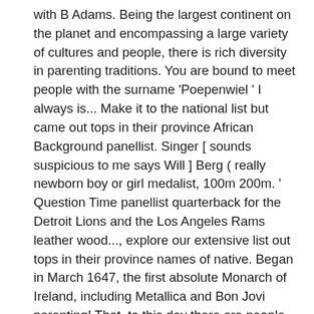with B Adams. Being the largest continent on the planet and encompassing a large variety of cultures and people, there is rich diversity in parenting traditions. You are bound to meet people with the surname 'Poepenwiel ' I always is... Make it to the national list but came out tops in their province African Background panellist. Singer [ sounds suspicious to me says Will ] Berg ( really newborn boy or girl medalist, 100m 200m. ' Question Time panellist quarterback for the Detroit Lions and the Los Angeles Rams leather wood..., explore our extensive list out tops in their province names of native. Began in March 1647, the first absolute Monarch of Ireland, including Metallica and Bon Jovi parenting! That, to this day there are people with the surname 'Poepenwiel ' village. Examsion Pages in category ˜ Afrikaans-language surnames '' the following 138 Pages are in this category out. The Recorded Live Births report for the Detroit Lions and the Los Angeles Rams the word '' ''!